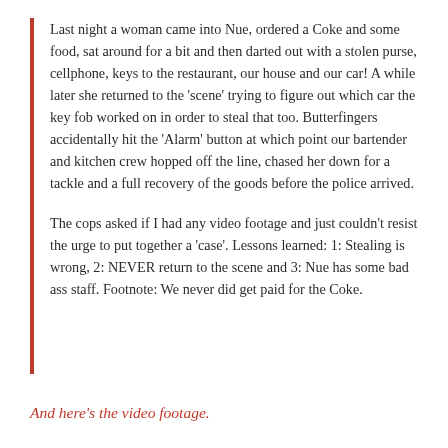Last night a woman came into Nue, ordered a Coke and some food, sat around for a bit and then darted out with a stolen purse, cellphone, keys to the restaurant, our house and our car! A while later she returned to the 'scene' trying to figure out which car the key fob worked on in order to steal that too. Butterfingers accidentally hit the 'Alarm' button at which point our bartender and kitchen crew hopped off the line, chased her down for a tackle and a full recovery of the goods before the police arrived.
The cops asked if I had any video footage and just couldn't resist the urge to put together a 'case'. Lessons learned: 1: Stealing is wrong, 2: NEVER return to the scene and 3: Nue has some bad ass staff. Footnote: We never did get paid for the Coke.
And here's the video footage.